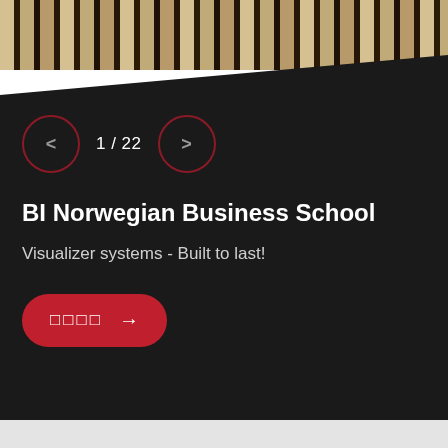[Figure (photo): Photo strip of piano keys or wooden slats, partially visible at top of page with diagonal dark overlay]
1 / 22
BI Norwegian Business School
Visualizer systems - Built to last!
□□□□ →